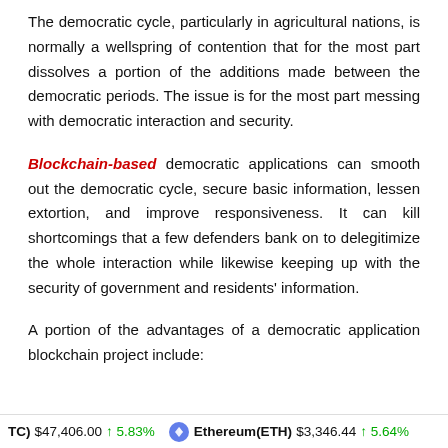The democratic cycle, particularly in agricultural nations, is normally a wellspring of contention that for the most part dissolves a portion of the additions made between the democratic periods. The issue is for the most part messing with democratic interaction and security.
Blockchain-based democratic applications can smooth out the democratic cycle, secure basic information, lessen extortion, and improve responsiveness. It can kill shortcomings that a few defenders bank on to delegitimize the whole interaction while likewise keeping up with the security of government and residents' information.
A portion of the advantages of a democratic application blockchain project include:
TC) $47,406.00 ↑ 5.83%   Ethereum(ETH) $3,346.44 ↑ 5.64%